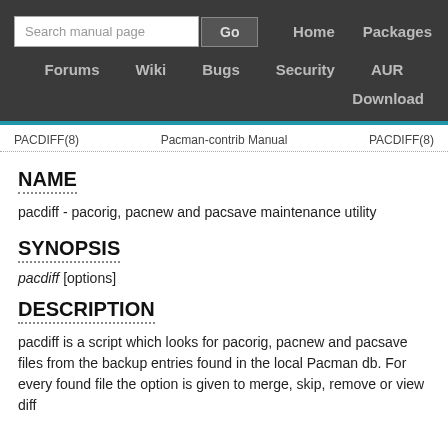Search manual page | Go | Home | Packages | Forums | Wiki | Bugs | Security | AUR | Download
PACDIFF(8)    Pacman-contrib Manual    PACDIFF(8)
NAME
pacdiff - pacorig, pacnew and pacsave maintenance utility
SYNOPSIS
pacdiff [options]
DESCRIPTION
pacdiff is a script which looks for pacorig, pacnew and pacsave files from the backup entries found in the local Pacman db. For every found file the option is given to merge, skip, remove or view diff...